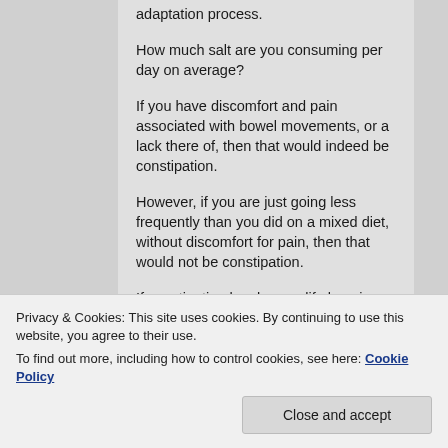adaptation process.
How much salt are you consuming per day on average?
If you have discomfort and pain associated with bowel movements, or a lack there of, then that would indeed be constipation.
However, if you are just going less frequently than you did on a mixed diet, without discomfort for pain, then that would not be constipation.
If constipation has been a life long issue
Privacy & Cookies: This site uses cookies. By continuing to use this website, you agree to their use.
To find out more, including how to control cookies, see here: Cookie Policy
Close and accept
you eat.